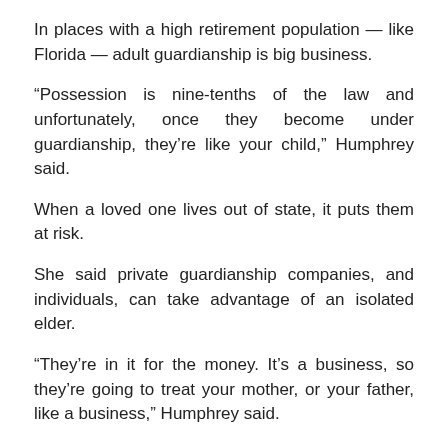In places with a high retirement population — like Florida — adult guardianship is big business.
“Possession is nine-tenths of the law and unfortunately, once they become under guardianship, they’re like your child,” Humphrey said.
When a loved one lives out of state, it puts them at risk.
She said private guardianship companies, and individuals, can take advantage of an isolated elder.
“They’re in it for the money. It’s a business, so they’re going to treat your mother, or your father, like a business,” Humphrey said.
Humphrey, and other experts, said living far from an aging loved one puts them at great risk. They also said an interfamily dispute often leaves probate judges at a loss as to how to deal with the aging relative.